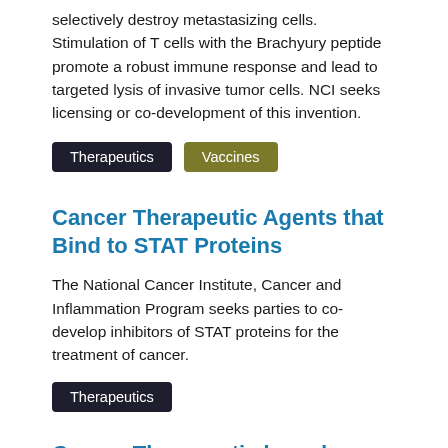selectively destroy metastasizing cells. Stimulation of T cells with the Brachyury peptide promote a robust immune response and lead to targeted lysis of invasive tumor cells. NCI seeks licensing or co-development of this invention.
Therapeutics
Vaccines
Cancer Therapeutic Agents that Bind to STAT Proteins
The National Cancer Institute, Cancer and Inflammation Program seeks parties to co-develop inhibitors of STAT proteins for the treatment of cancer.
Therapeutics
Cancer Therapeutic based on Stimulation of Natural Killer T-cell Anti-tumor Activity